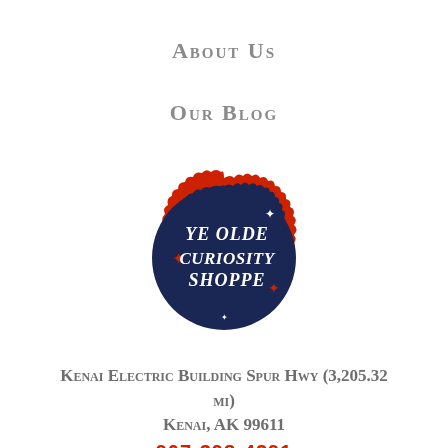About Us
Our Blog
[Figure (logo): Ye Olde Curiosity Shoppe badge logo — dark navy blue scalloped/wavy circular badge with red border, white text reading 'Ye Olde Curiosity Shoppe' in decorative font, with red and white diamond star ornaments]
Kenai Electric Building Spur Hwy (3,205.32 mi)
Kenai, AK 99611
907-398-4391